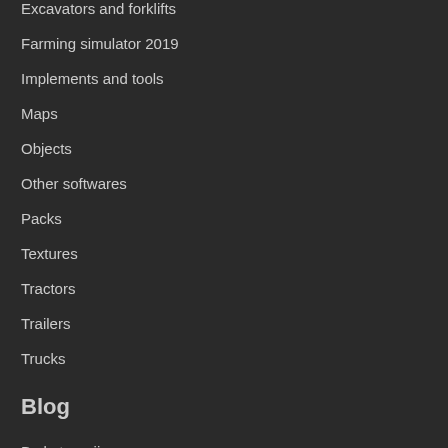Excavators and forklifts
Farming simulator 2019
Implements and tools
Maps
Objects
Other softwares
Packs
Textures
Tractors
Trailers
Trucks
Blog
Be kategorijos
FS